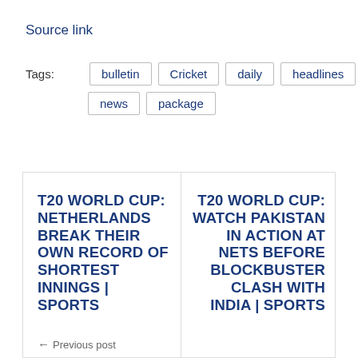Source link
Tags: bulletin  Cricket  daily  headlines  news  package
T20 WORLD CUP: NETHERLANDS BREAK THEIR OWN RECORD OF SHORTEST INNINGS | SPORTS
T20 WORLD CUP: WATCH PAKISTAN IN ACTION AT NETS BEFORE BLOCKBUSTER CLASH WITH INDIA | SPORTS
← Previous post